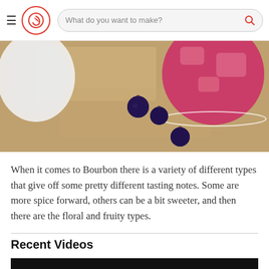What do you want to make?
[Figure (photo): Overhead photo of blueberries and a red/pink cocktail drink in a glass on a burlap surface]
When it comes to Bourbon there is a variety of different types that give off some pretty different tasting notes. Some are more spice forward, others can be a bit sweeter, and then there are the floral and fruity types.
Recent Videos
[Figure (screenshot): Video thumbnail with black bar and gray title bar reading 'How to Slice an Onion']